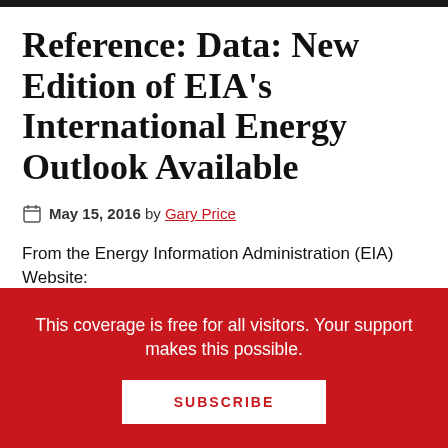Reference: Data: New Edition of EIA’s International Energy Outlook Available
May 15, 2016 by Gary Price
From the Energy Information Administration (EIA) Website:
This coverage is free for all visitors. Your support makes this possible.
SUBSCRIBE